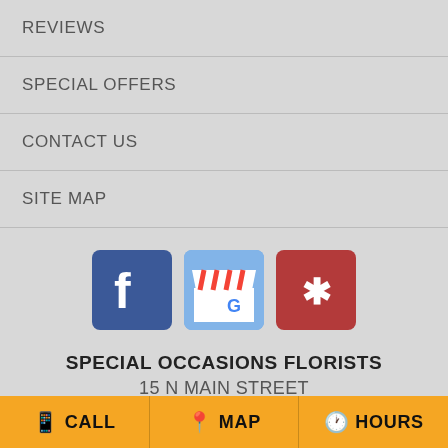REVIEWS
SPECIAL OFFERS
CONTACT US
SITE MAP
[Figure (logo): Facebook, Google My Business, and Yelp social media icons]
SPECIAL OCCASIONS FLORISTS
15 N MAIN STREET
MANSFIELD, PA. 16933
CALL   MAP   HOURS